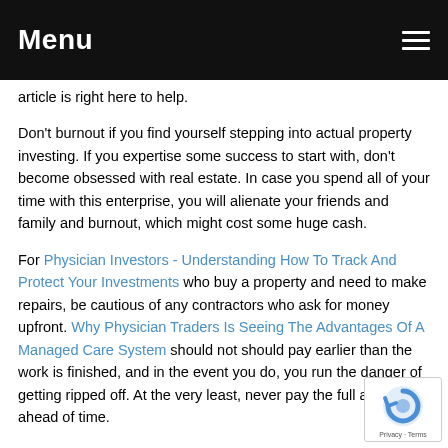Menu
article is right here to help.
Don't burnout if you find yourself stepping into actual property investing. If you expertise some success to start with, don't become obsessed with real estate. In case you spend all of your time with this enterprise, you will alienate your friends and family and burnout, which might cost some huge cash.
For Physician Investors - Understanding How To Track And Protect Your Investments who buy a property and need to make repairs, be cautious of any contractors who ask for money upfront. Why Physician Traders Is Seeing The Advantages Of A Managed Care System should not should pay earlier than the work is finished, and in the event you do, you run the danger of getting ripped off. At the very least, never pay the full am ahead of time.